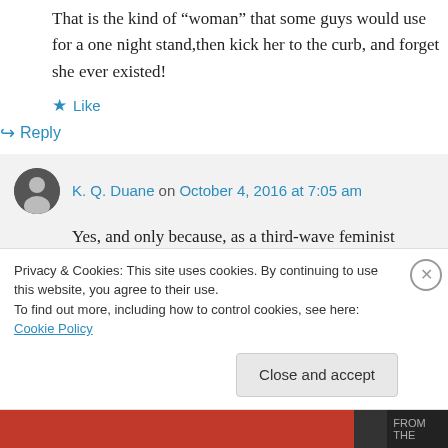That is the kind of “woman” that some guys would use for a one night stand,then kick her to the curb, and forget she ever existed!
★ Like
↳ Reply
K. Q. Duane on October 4, 2016 at 7:05 am
Yes, and only because, as a third-wave feminist zombie, she actually believes that
Privacy & Cookies: This site uses cookies. By continuing to use this website, you agree to their use.
To find out more, including how to control cookies, see here: Cookie Policy
Close and accept